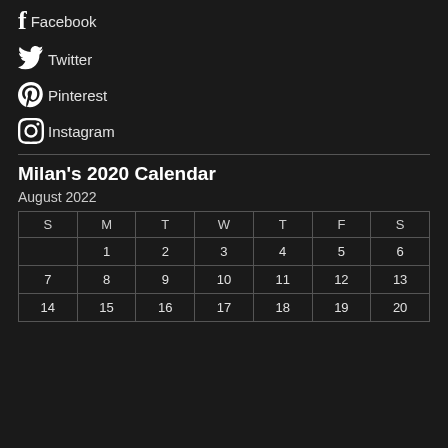Facebook
Twitter
Pinterest
Instagram
Milan's 2020 Calendar
August 2022
| S | M | T | W | T | F | S |
| --- | --- | --- | --- | --- | --- | --- |
|  | 1 | 2 | 3 | 4 | 5 | 6 |
| 7 | 8 | 9 | 10 | 11 | 12 | 13 |
| 14 | 15 | 16 | 17 | 18 | 19 | 20 |